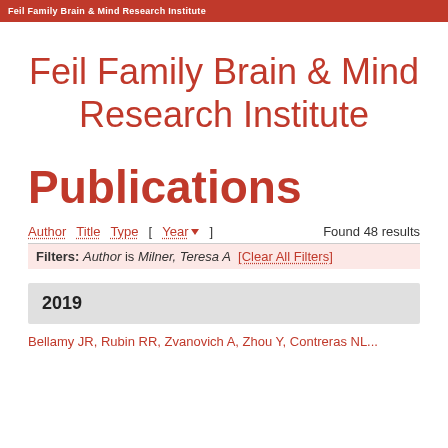Feil Family Brain & Mind Research Institute
Feil Family Brain & Mind Research Institute
Publications
Author  Title  Type  [ Year▼ ]  Found 48 results
Filters: Author is Milner, Teresa A  [Clear All Filters]
2019
Bellamy JR, Rubin RR, Zvanovich A, Zhou Y, Contreras NL...